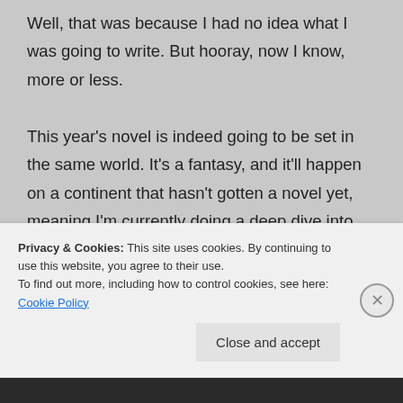Well, that was because I had no idea what I was going to write. But hooray, now I know, more or less.

This year's novel is indeed going to be set in the same world. It's a fantasy, and it'll happen on a continent that hasn't gotten a novel yet, meaning I'm currently doing a deep dive into the development of culture, civilization, history, species, magic, and you name it for that continent. Some themes I'm going to utilize within the novel include relations between
Privacy & Cookies: This site uses cookies. By continuing to use this website, you agree to their use.
To find out more, including how to control cookies, see here: Cookie Policy
Close and accept